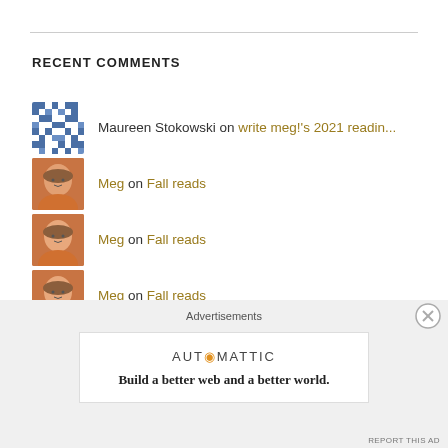RECENT COMMENTS
Maureen Stokowski on write meg!'s 2021 readin...
Meg on Fall reads
Meg on Fall reads
Meg on Fall reads
Debbie on Fall reads
FOLLOW BLOG VIA EMAIL
Advertisements
[Figure (logo): Automattic logo with tagline: Build a better web and a better world.]
REPORT THIS AD